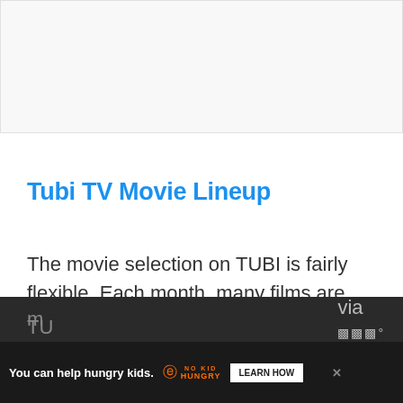[Figure (other): Gray/white banner placeholder area at top of page]
Tubi TV Movie Lineup
The movie selection on TUBI is fairly flexible. Each month, many films are uploaded, but a few are also withdrawn. The site, on the other hand, has an excellent collection of both contemporary and older videos. Other
[Figure (other): Advertisement banner: orange background with text 'You can help hungry kids.' No Kid Hungry logo and LEARN HOW button, with close X button, partially overlapping dark bottom bar]